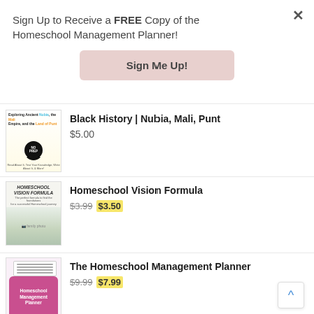Sign Up to Receive a FREE Copy of the Homeschool Management Planner!
Sign Me Up!
[Figure (illustration): Book cover: Exploring Ancient Nubia, the Mali Empire, and the Land of Punt. Colorful educational workbook with cartoon children and NO PREP badge.]
Black History | Nubia, Mali, Punt
$5.00
[Figure (illustration): Book cover: Homeschool Vision Formula. Shows a father and mother studying with a child at a table.]
Homeschool Vision Formula
$3.99 $3.50
[Figure (illustration): Book cover: The Homeschool Management Planner. Pink and white planner cover with notebook graphic.]
The Homeschool Management Planner
$9.99 $7.99